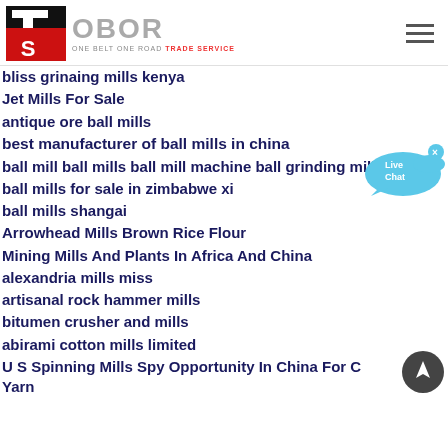[Figure (logo): OBOR Trade Service logo with red and black TS emblem and grey OBOR text with tagline ONE BELT ONE ROAD TRADE SERVICE]
bliss grinaing mills kenya
Jet Mills For Sale
antique ore ball mills
best manufacturer of ball mills in china
ball mill ball mills ball mill machine ball grinding mill
ball mills for sale in zimbabwe xi
ball mills shangai
Arrowhead Mills Brown Rice Flour
Mining Mills And Plants In Africa And China
alexandria mills miss
artisanal rock hammer mills
bitumen crusher and mills
abirami cotton mills limited
U S Spinning Mills Spy Opportunity In China For Cheap Yarn